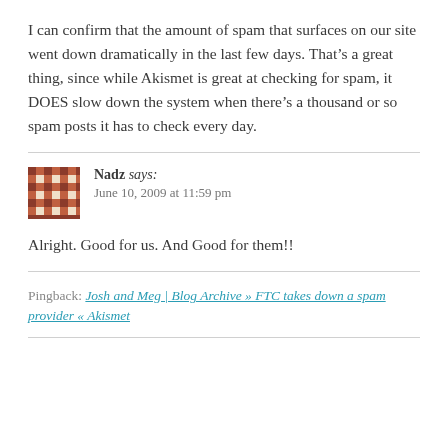I can confirm that the amount of spam that surfaces on our site went down dramatically in the last few days. That’s a great thing, since while Akismet is great at checking for spam, it DOES slow down the system when there’s a thousand or so spam posts it has to check every day.
Nadz says: June 10, 2009 at 11:59 pm
Alright. Good for us. And Good for them!!
Pingback: Josh and Meg | Blog Archive » FTC takes down a spam provider « Akismet